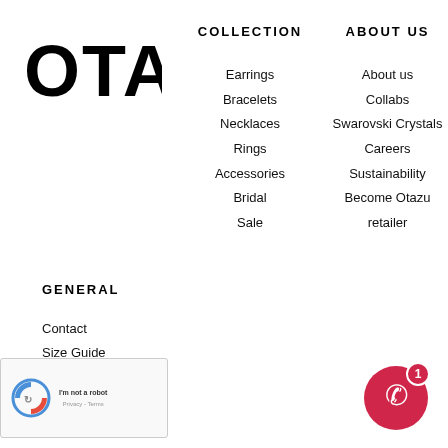[Figure (logo): OTAZU brand logo in bold black uppercase letters]
COLLECTION
Earrings
Bracelets
Necklaces
Rings
Accessories
Bridal
Sale
ABOUT US
About us
Collabs
Swarovski Crystals
Careers
Sustainability
Become Otazu retailer
GENERAL
Contact
Size Guide
Delivery
Warranty and Return
Terms &
[Figure (logo): Google reCAPTCHA widget with Privacy - Terms text]
[Figure (other): WhatsApp chat button - red circle with phone icon and badge showing 1 notification]